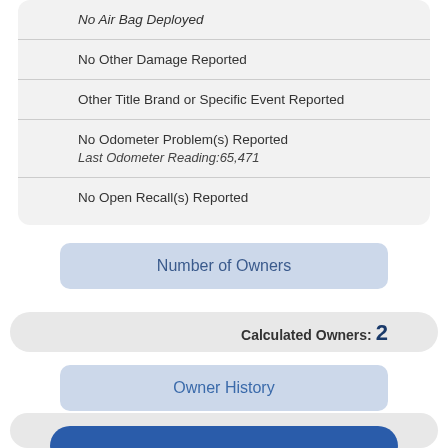No Air Bag Deployed
No Other Damage Reported
Other Title Brand or Specific Event Reported
No Odometer Problem(s) Reported
Last Odometer Reading:65,471
No Open Recall(s) Reported
Number of Owners
Calculated Owners: 2
Owner History